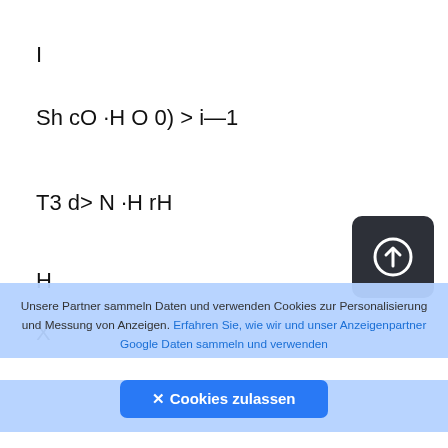I
Sh cO ·H O 0) > i—1
T3 d> N ·H rH
H
X
(0 0)
Q
[Figure (other): Dark rounded square button with an upload/arrow-up circle icon]
Unsere Partner sammeln Daten und verwenden Cookies zur Personalisierung und Messung von Anzeigen. Erfahren Sie, wie wir und unser Anzeigenpartner Google Daten sammeln und verwenden
✕ Cookies zulassen